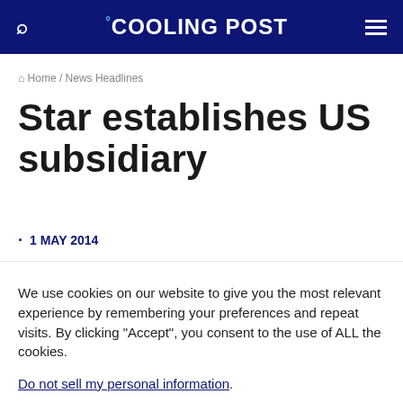COOLING POST
Home / News Headlines
Star establishes US subsidiary
1 MAY 2014
We use cookies on our website to give you the most relevant experience by remembering your preferences and repeat visits. By clicking “Accept”, you consent to the use of ALL the cookies.
Do not sell my personal information.
Cookie Settings  Accept